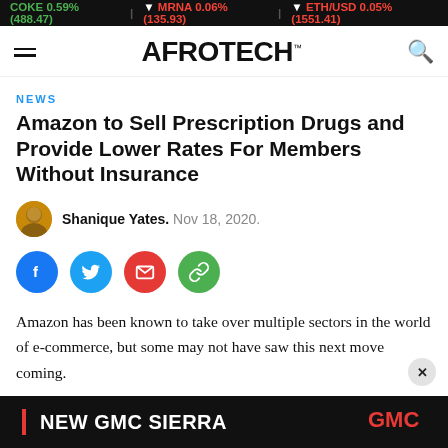COKE 0.59% (488.47) | ▼ MRNA 0.06% (135.93) | ▼ ETH/USD 0.05% (1551.41)
AFROTECH™
NEWS
Amazon to Sell Prescription Drugs and Provide Lower Rates For Members Without Insurance
Shanique Yates. Nov 18, 2020.
[Figure (infographic): Social share buttons: Facebook (blue), Twitter (blue), Email (red), Link (green)]
Amazon has been known to take over multiple sectors in the world of e-commerce, but some may not have saw this next move coming.
Soon Amazon Prime members will be eligible for two-day...
[Figure (other): Advertisement banner: NEW GMC SIERRA with GMC logo on black background]